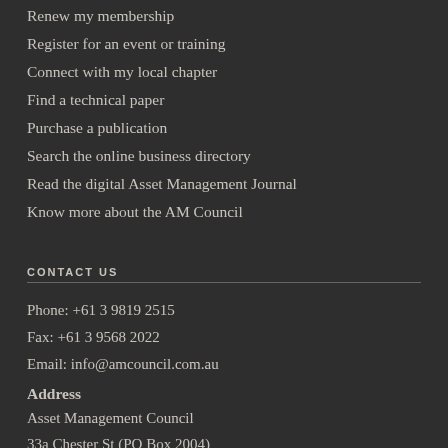Renew my membership
Register for an event or training
Connect with my local chapter
Find a technical paper
Purchase a publication
Search the online business directory
Read the digital Asset Management Journal
Know more about the AM Council
CONTACT US
Phone: +61 3 9819 2515
Fax:  +61 3 9568 2022
Email: info@amcouncil.com.au
Address
Asset Management Council
33a Chester St (PO Box 2004)